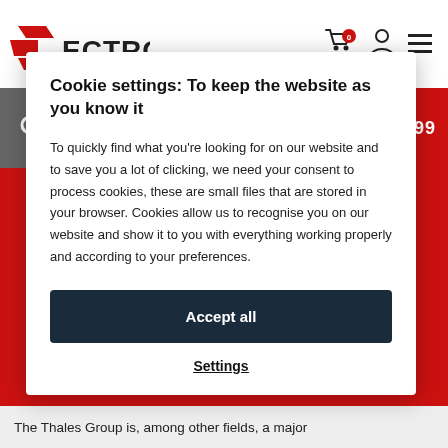[Figure (logo): Sectron logo — red S shape with ECTRON text in dark letters]
[Figure (infographic): Header icons: shopping cart with badge '0', user/person icon, hamburger menu icon]
[Figure (infographic): Red search bar with magnifying glass icon in grey box on left, HOTLINE: 599 509 599 on right]
Cookie settings: To keep the website as you know it
To quickly find what you’re looking for on our website and to save you a lot of clicking, we need your consent to process cookies, these are small files that are stored in your browser. Cookies allow us to recognise you on our website and show it to you with everything working properly and according to your preferences.
Accept all
Settings
The Thales Group is, among other fields, a major